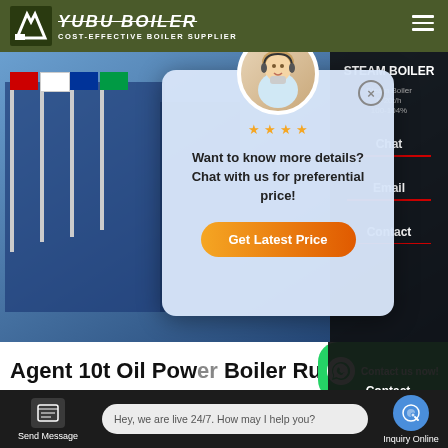[Figure (screenshot): YUBO BOILER website header with dark olive green background, logo, company name, and hamburger menu]
[Figure (screenshot): Hero section showing a building with flags, Steam Boiler product panel on right, and a chat popup modal with customer service agent photo, stars, message 'Want to know more details? Chat with us for preferential price!' and 'Get Latest Price' button]
Agent 10t Oil Powered Boiler Ru...
[Figure (screenshot): WhatsApp contact buttons and email icon row]
[Figure (screenshot): Bottom bar with Send Message button, live chat bubble 'Hey, we are live 24/7. How may I help you?', and Inquiry Online button]